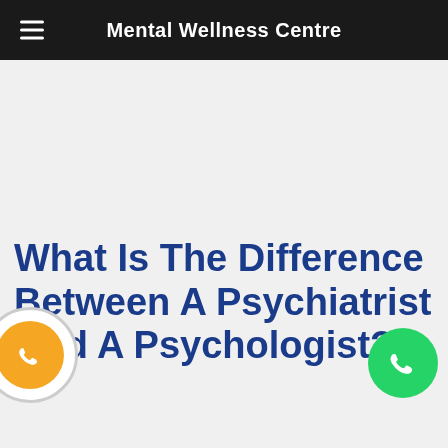Mental Wellness Centre
What Is The Difference Between A Psychiatrist And A Psychologist?
[Figure (other): WhatsApp call button orange circle on left side]
[Figure (other): WhatsApp call button green circle on right side]